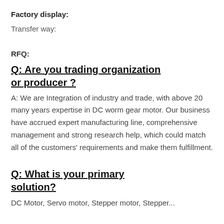Factory display:
Transfer way:
RFQ:
Q: Are you trading organization or producer ?
A: We are Integration of industry and trade, with above 20 many years expertise in DC worm gear motor. Our business have accrued expert manufacturing line, comprehensive management and strong research help, which could match all of the customers' requirements and make them fulfillment.
Q: What is your primary solution?
DC Motor, Gear motor, Servo motor, Stepper...